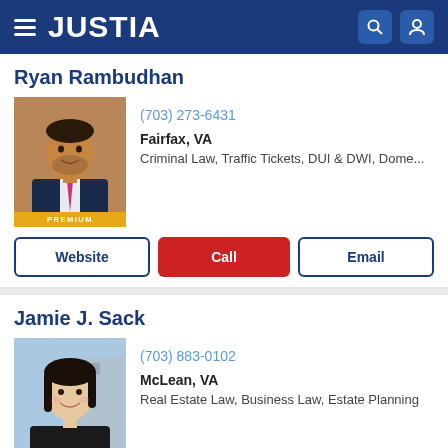JUSTIA
Ryan Rambudhan
[Figure (photo): Professional headshot of Ryan Rambudhan, a man in a dark suit with a pink tie, photographed outdoors against a brick building]
(703) 273-6431
Fairfax, VA
Criminal Law, Traffic Tickets, DUI & DWI, Dome...
Website | Call | Email
Jamie J. Sack
[Figure (photo): Professional headshot of Jamie J. Sack, a woman with dark hair, smiling, photographed against an urban background]
(703) 883-0102
McLean, VA
Real Estate Law, Business Law, Estate Planning
Website | Call | Email